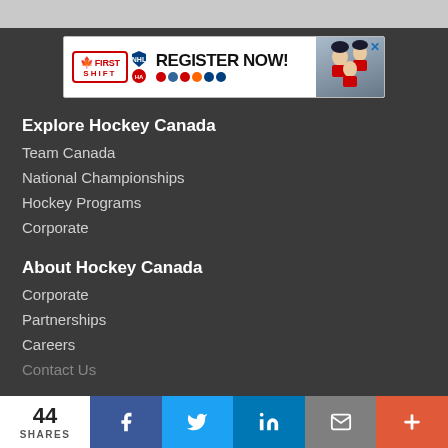[Figure (screenshot): Hockey Canada First Shift program advertisement banner — REGISTER NOW!]
Explore Hockey Canada
Team Canada
National Championships
Hockey Programs
Corporate
About Hockey Canada
Corporate
Partnerships
Careers
Contact Us
[Figure (infographic): Social share bar: 44 SHARES, Facebook, Twitter, LinkedIn, Email, More buttons]